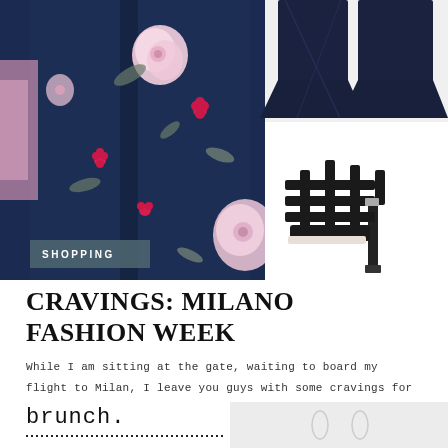[Figure (photo): Fashion collage: left side shows a navy floral coat/kimono with pink and white flowers on dark navy background. Top right shows dark navy wide-leg jeans/trousers. Bottom right shows black strappy high-heel sandals on white background. A teal 'SHOPPING' label overlay appears on the bottom left of the image.]
CRAVINGS: MILANO FASHION WEEK
While I am sitting at the gate, waiting to board my flight to Milan, I leave you guys with some cravings for fashion week.
8 years ago
[Figure (logo): brunch. logo in lowercase courier-style font with dotted line underneath, next to a partial image on the right]